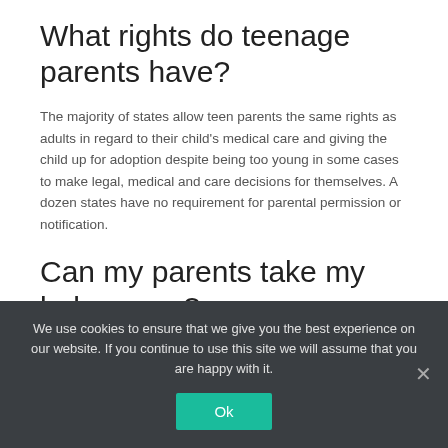What rights do teenage parents have?
The majority of states allow teen parents the same rights as adults in regard to their child’s medical care and giving the child up for adoption despite being too young in some cases to make legal, medical and care decisions for themselves. A dozen states have no requirement for parental permission or notification.
Can my parents take my baby away?
Sometimes taking your child from you is a crime, like “parental
We use cookies to ensure that we give you the best experience on our website. If you continue to use this site we will assume that you are happy with it.